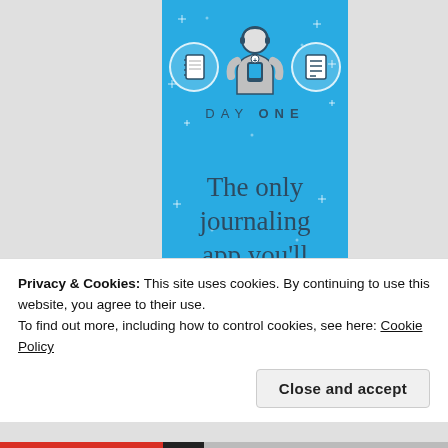[Figure (infographic): Day One journaling app advertisement banner on a light blue background. Shows three circular icons at top (notebook, person with headset holding phone, checklist), the text 'DAY ONE' in spaced lettering, and tagline 'The only journaling app you'll ever need' partially visible.]
Privacy & Cookies: This site uses cookies. By continuing to use this website, you agree to their use.
To find out more, including how to control cookies, see here: Cookie Policy
Close and accept